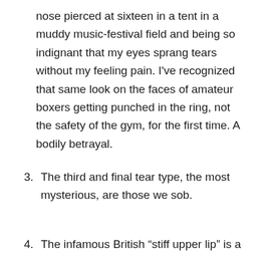nose pierced at sixteen in a tent in a muddy music-festival field and being so indignant that my eyes sprang tears without my feeling pain. I've recognized that same look on the faces of amateur boxers getting punched in the ring, not the safety of the gym, for the first time. A bodily betrayal.
3. The third and final tear type, the most mysterious, are those we sob.
4. The infamous British “stiff upper lip” is a